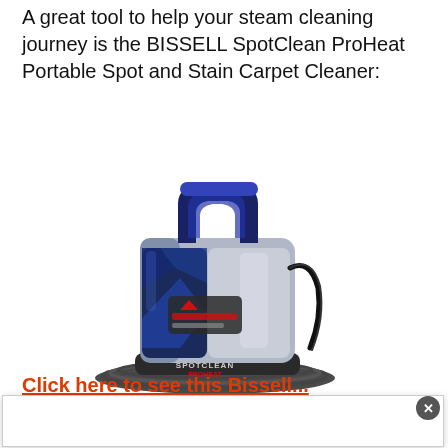A great tool to help your steam cleaning journey is the BISSELL SpotClean ProHeat Portable Spot and Stain Carpet Cleaner:
[Figure (photo): Photo of a BISSELL SpotClean ProHeat Portable Spot and Stain Carpet Cleaner. The device is compact and portable, with a blue handle, silver/chrome body with geometric blue patterned water tank on the left side, and a coiled black hose at the base. The front of the unit reads 'SPOTCLEAN PROHEAT' in silver lettering.]
Click here to see this Bissell...